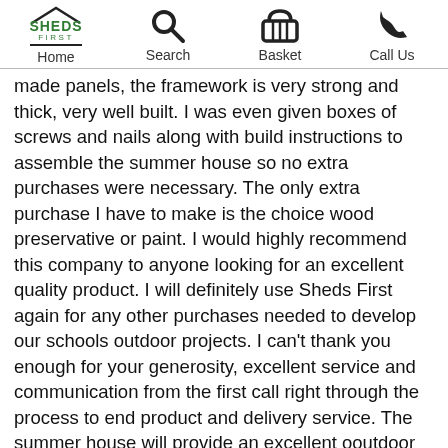Home | Search | Basket | Call Us
made panels, the framework is very strong and thick, very well built. I was even given boxes of screws and nails along with build instructions to assemble the summer house so no extra purchases were necessary. The only extra purchase I have to make is the choice wood preservative or paint. I would highly recommend this company to anyone looking for an excellent quality product. I will definitely use Sheds First again for any other purchases needed to develop our schools outdoor projects. I can't thank you enough for your generosity, excellent service and communication from the first call right through the process to end product and delivery service. The summer house will provide an excellent ooutdoor provision for our very special pupils who also send you a big thanks. Well done Sheds First keep up your excellent work and I'm sure your business will prosper for meny years to come. I wish you well. Thank you from one happy HLTA and the very excited special children and young people I have the privilege and pleasure to work with.